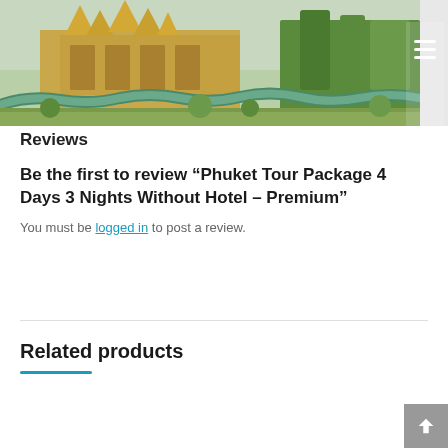[Figure (photo): Panoramic photo of a Thai Buddhist temple complex with golden spires, ornate architecture, decorative naga serpent sculptures along garden path, tropical greenery and trees in background]
Reviews
Be the first to review “Phuket Tour Package 4 Days 3 Nights Without Hotel – Premium”
You must be logged in to post a review.
Related products